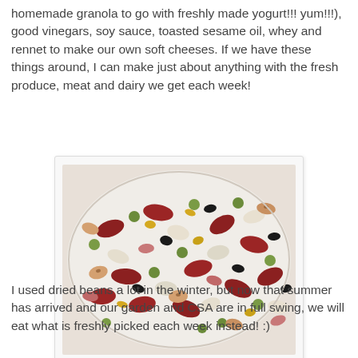homemade granola to go with freshly made yogurt!!! yum!!!), good vinegars, soy sauce, toasted sesame oil, whey and rennet to make our own soft cheeses. If we have these things around, I can make just about anything with the fresh produce, meat and dairy we get each week!
[Figure (photo): A white bowl filled with a colorful assortment of dried mixed beans of various shapes, sizes, and colors including red, white, green, black, yellow, and speckled varieties.]
I used dried beans a lot in the winter, but now that summer has arrived and our garden and CSA are in full swing, we will eat what is freshly picked each week instead! :)